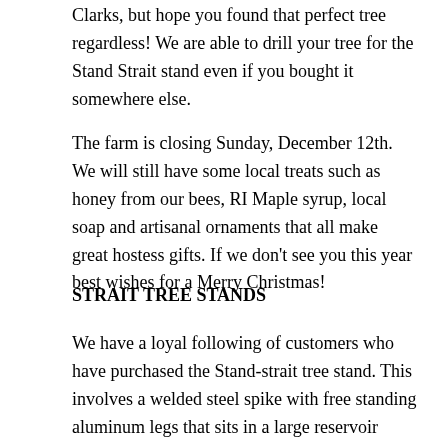Clarks, but hope you found that perfect tree regardless!  We are able to drill your tree for the Stand Strait stand even if you bought it somewhere else.
The farm is closing Sunday,  December 12th.  We will still have some local treats such as honey from our bees, RI Maple syrup, local soap and artisanal ornaments that all make great hostess gifts.  If we don't see you this year best wishes for a Merry Christmas!
STRAIT TREE STANDS
We have a loyal following of customers who have purchased the Stand-strait tree stand.  This involves a welded steel spike with free standing aluminum legs that sits in a large reservoir bowl.  Our tree drilling jig will core a cylinder from the bottom of the tree so when you get your tree home all you need to do is pop it on the spike for a perfectly straight and stable tree.  No screws to tighten endlessly trying to get the tree straight.  And the two